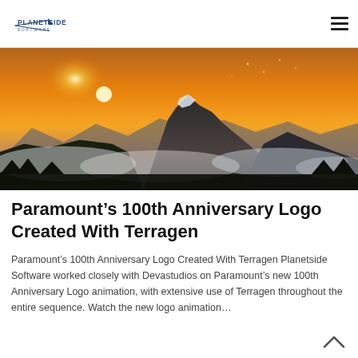Planetside Software logo and navigation menu
[Figure (photo): Dramatic landscape photo showing mountain peaks rising above clouds with a sunset/sunrise sky in warm orange and blue tones. Snow-capped mountain silhouetted against glowing sky with mist in the valleys.]
Paramount’s 100th Anniversary Logo Created With Terragen
Paramount’s 100th Anniversary Logo Created With Terragen Planetside Software worked closely with Devastudios on Paramount’s new 100th Anniversary Logo animation, with extensive use of Terragen throughout the entire sequence. Watch the new logo animation…